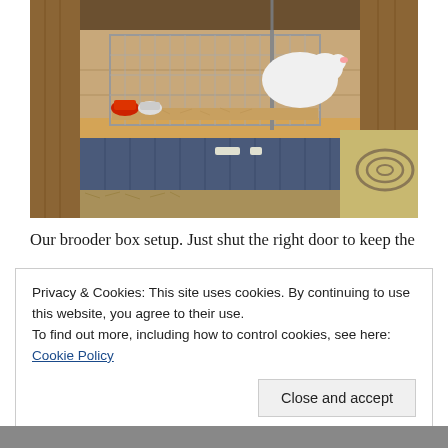[Figure (photo): A brooder box setup inside a wooden chicken coop structure. A wire mesh cage sits on a wooden platform painted blue, with wood shavings inside. A white chicken/bird is visible inside the cage. There are red and white feeders/waterers visible. Coiled rope and straw are on the ground outside the cage.]
Our brooder box setup. Just shut the right door to keep the
Privacy & Cookies: This site uses cookies. By continuing to use this website, you agree to their use.
To find out more, including how to control cookies, see here: Cookie Policy
Close and accept